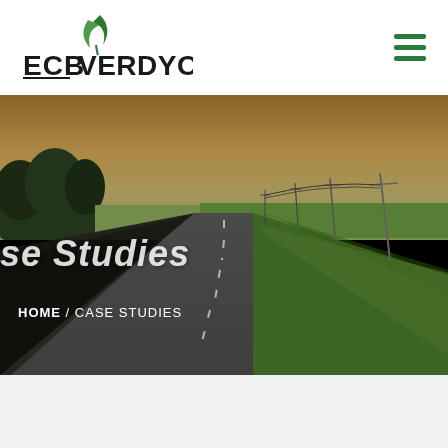ECB VERDYOL
[Figure (photo): Country road with green grass on the right side and fields in the background, sunset/golden hour lighting. Overhead power lines visible along the road.]
se Studies
HOME / CASE STUDIES